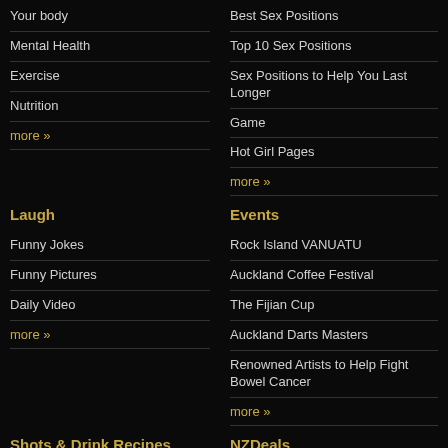Your body
Mental Health
Exercise
Nutrition
more »
Best Sex Positions
Top 10 Sex Positions
Sex Positions to Help You Last Longer
Game
Hot Girl Pages
more »
Laugh
Events
Funny Jokes
Funny Pictures
Daily Video
more »
Rock Island VANUATU
Auckland Coffee Festival
The Fijian Cup
Auckland Darts Masters
Renowned Artists to Help Fight Bowel Cancer
more »
Shots & Drink Recipes
NZDeals
Frank's Home Bar Essentials
Top 10 Most Discounted